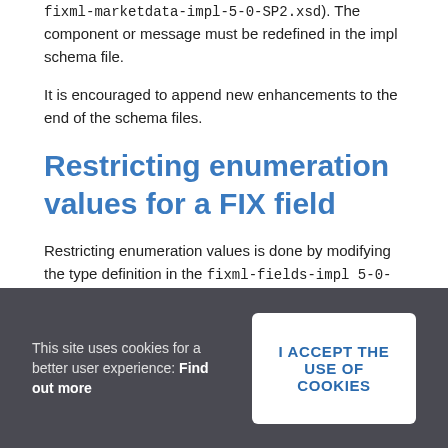fixml-marketdata-impl-5-0-SP2.xsd). The component or message must be redefined in the impl schema file.
It is encouraged to append new enhancements to the end of the schema files.
Restricting enumeration values for a FIX field
Restricting enumeration values is done by modifying the type definition in the fixml-fields-impl 5-0-SP2.xsd schema file.
This site uses cookies for a better user experience: Find out more
I ACCEPT THE USE OF COOKIES